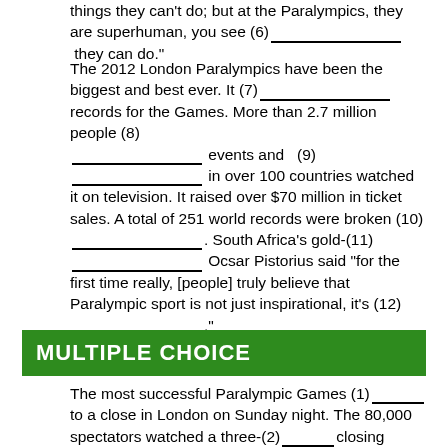things they can't do; but at the Paralympics, they are superhuman, you see (6) ___________________ they can do."
The 2012 London Paralympics have been the biggest and best ever. It (7) ___________________ records for the Games. More than 2.7 million people (8) ___________________ events and   (9) ___________________ in over 100 countries watched it on television. It raised over $70 million in ticket sales. A total of 251 world records were broken (10) ___________________. South Africa's gold-(11) ___________________ Ocsar Pistorius said "for the first time really, [people] truly believe that Paralympic sport is not just inspirational, it's (12) ___________________."
MULTIPLE CHOICE
The most successful Paralympic Games (1) _____ to a close in London on Sunday night. The 80,000 spectators watched a three-(2) _____ closing ceremony that (3) _____ top music acts, British Prime